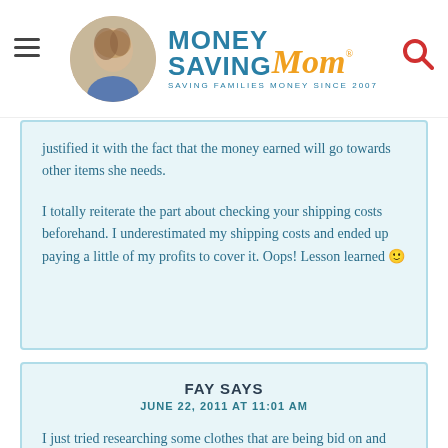Money Saving Mom® — SAVING FAMILIES MONEY SINCE 2007
justified it with the fact that the money earned will go towards other items she needs.
I totally reiterate the part about checking your shipping costs beforehand. I underestimated my shipping costs and ended up paying a little of my profits to cover it. Oops! Lesson learned 🙂
FAY SAYS
JUNE 22, 2011 AT 11:01 AM
I just tried researching some clothes that are being bid on and there are hardly any kids clothes that have bids on them. Its weird. Its like ebay is dead at the moment. Maybe my search was incorrect but I used the term "kids clothing" in the search bar.